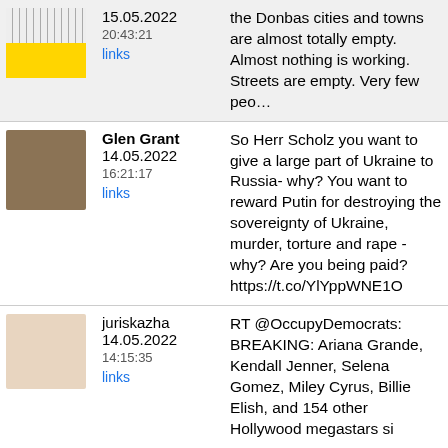15.05.2022 20:43:21 links | the Donbas cities and towns are almost totally empty. Almost nothing is working. Streets are empty. Very few peo…
Glen Grant 14.05.2022 16:21:17 links | So Herr Scholz you want to give a large part of Ukraine to Russia- why? You want to reward Putin for destroying the sovereignty of Ukraine, murder, torture and rape - why? Are you being paid? https://t.co/YlYppWNE1O
juriskazha 14.05.2022 14:15:35 links | RT @OccupyDemocrats: BREAKING: Ariana Grande, Kendall Jenner, Selena Gomez, Miley Cyrus, Billie Elish, and 154 other Hollywood megastars si